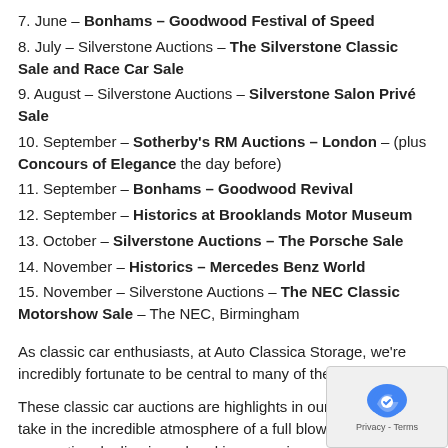7. June – Bonhams – Goodwood Festival of Speed
8. July – Silverstone Auctions – The Silverstone Classic Sale and Race Car Sale
9. August – Silverstone Auctions – Silverstone Salon Privé Sale
10. September – Sotherby's RM Auctions – London – (plus Concours of Elegance the day before)
11. September – Bonhams – Goodwood Revival
12. September – Historics at Brooklands Motor Museum
13. October – Silverstone Auctions – The Porsche Sale
14. November – Historics – Mercedes Benz World
15. November – Silverstone Auctions – The NEC Classic Motorshow Sale – The NEC, Birmingham
As classic car enthusiasts, at Auto Classica Storage, we're incredibly fortunate to be central to many of these events.
These classic car auctions are highlights in our calendar and take in the incredible atmosphere of a full blown professional car auction dealing in real and in some circumstances unreal